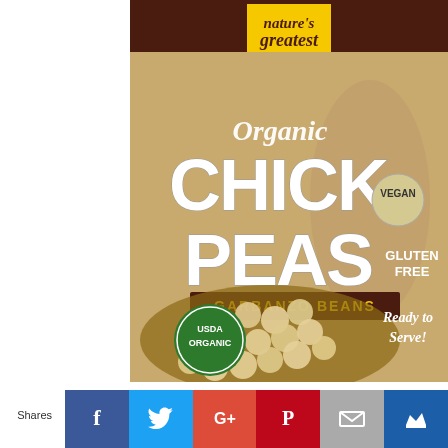[Figure (photo): Nature's Greatest Foods Organic Chick Peas Garbanzo Beans can label. Features a yellow pentagon-shaped brand logo, dark brown top band, USDA Organic seal, chickpeas in a wooden bowl, and labels: NON BPA FREE LINING, VEGAN, GLUTEN FREE, Ready to Serve!]
Shares